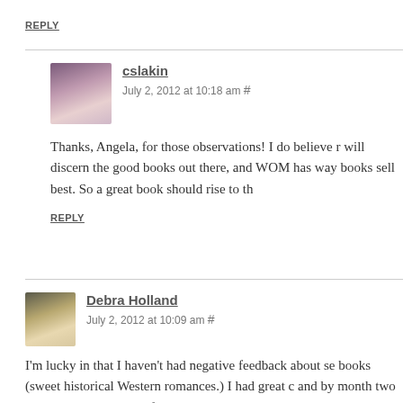REPLY
cslakin
July 2, 2012 at 10:18 am #
Thanks, Angela, for those observations! I do believe r will discern the good books out there, and WOM has way books sell best. So a great book should rise to th
REPLY
Debra Holland
July 2, 2012 at 10:09 am #
I'm lucky in that I haven't had negative feedback about se books (sweet historical Western romances.) I had great c and by month two had rising numbers. In four months I'c and in a year about 97,000. I made the USA Today Betse someone even TRIES to put self-publishing down, I just c of the above facts, and they change their minds. Often